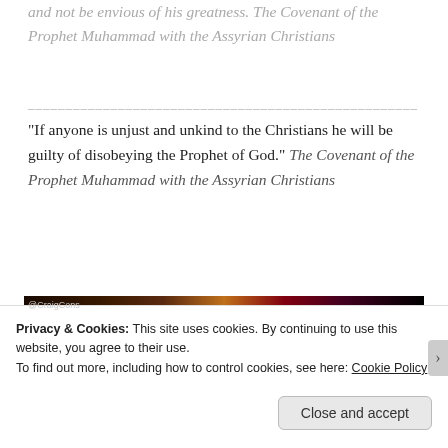and not be envious of his greatness. The Covenant of the Prophet Muhammad with the Assyrian Christians
-----------------------------------------------
“If anyone is unjust and unkind to the Christians he will be guilty of disobeying the Prophet of God.” The Covenant of the Prophet Muhammad with the Assyrian Christians
[Figure (photo): Dark photo showing what appears to be a decorative Islamic architectural element or illuminated manuscript, with a @CraigCons watermark in the upper left]
Privacy & Cookies: This site uses cookies. By continuing to use this website, you agree to their use.
To find out more, including how to control cookies, see here: Cookie Policy